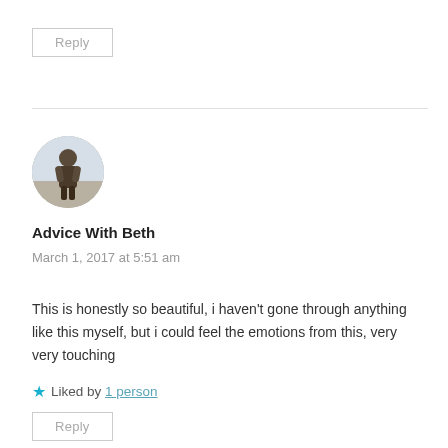Reply
[Figure (photo): Circular avatar photo of a person standing outdoors]
Advice With Beth
March 1, 2017 at 5:51 am
This is honestly so beautiful, i haven't gone through anything like this myself, but i could feel the emotions from this, very very touching
Liked by 1 person
Reply